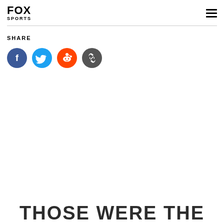FOX SPORTS
SHARE
[Figure (infographic): Social share buttons: Facebook (blue circle with f icon), Twitter (light blue circle with bird icon), Reddit (orange circle with alien icon), Link/copy (dark gray circle with chain link icon)]
THOSE WERE THE